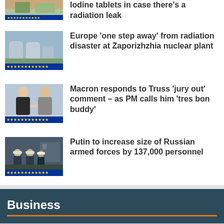Iodine tablets in case there's a radiation leak
Europe 'one step away' from radiation disaster at Zaporizhzhia nuclear plant
Macron responds to Truss 'jury out' comment – as PM calls him 'tres bon buddy'
Putin to increase size of Russian armed forces by 137,000 personnel
Business
Joules' rescue talks with Next stumble after